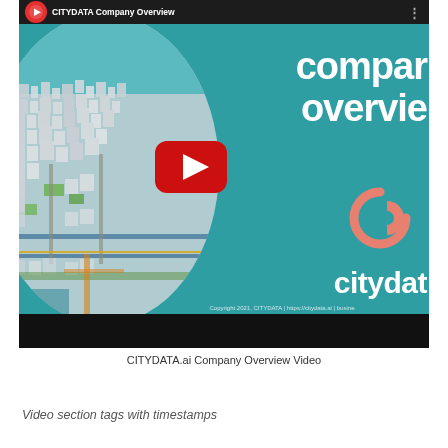[Figure (screenshot): YouTube video thumbnail/player for CITYDATA Company Overview Video. Shows a teal background with a 3D city aerial view on the left, text 'company overview' in white bold on the right, a salmon/coral CITYDATA logo icon, text 'citydat' visible, a red YouTube play button in the center, and a dark top bar with YouTube logo and video title. Bottom shows copyright text: Copyright 2021, CITYDATA | https://citydata.ai | busine...]
CITYDATA.ai Company Overview Video
Video section tags with timestamps